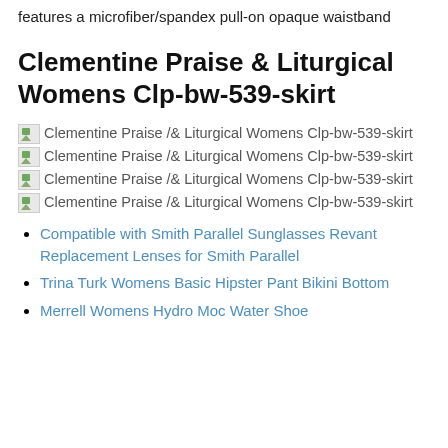features a microfiber/spandex pull-on opaque waistband
Clementine Praise & Liturgical Womens Clp-bw-539-skirt
[Figure (other): Broken image icon for Clementine Praise /& Liturgical Womens Clp-bw-539-skirt (1 of 4)]
[Figure (other): Broken image icon for Clementine Praise /& Liturgical Womens Clp-bw-539-skirt (2 of 4)]
[Figure (other): Broken image icon for Clementine Praise /& Liturgical Womens Clp-bw-539-skirt (3 of 4)]
[Figure (other): Broken image icon for Clementine Praise /& Liturgical Womens Clp-bw-539-skirt (4 of 4)]
Compatible with Smith Parallel Sunglasses Revant Replacement Lenses for Smith Parallel
Trina Turk Womens Basic Hipster Pant Bikini Bottom
Merrell Womens Hydro Moc Water Shoe